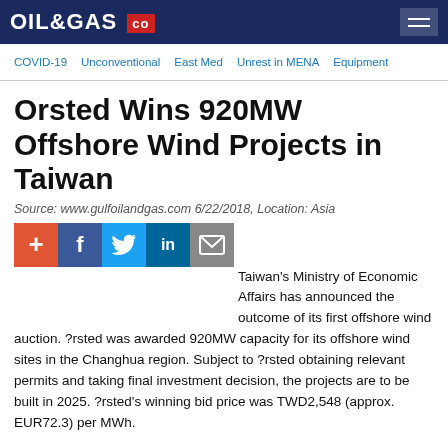OIL&GAS co
COVID-19  Unconventional  East Med  Unrest in MENA  Equipment
Orsted Wins 920MW Offshore Wind Projects in Taiwan
Source: www.gulfoilandgas.com 6/22/2018, Location: Asia
[Figure (other): Social sharing icons: add/plus (orange-red), Facebook (dark blue), Twitter (blue), LinkedIn (teal), Email (gray)]
Taiwan's Ministry of Economic Affairs has announced the outcome of its first offshore wind auction. ?rsted was awarded 920MW capacity for its offshore wind sites in the Changhua region. Subject to ?rsted obtaining relevant permits and taking final investment decision, the projects are to be built in 2025. ?rsted's winning bid price was TWD2,548 (approx. EUR72.3) per MWh.
With today's result, ?rsted has a total offshore wind pipeline in